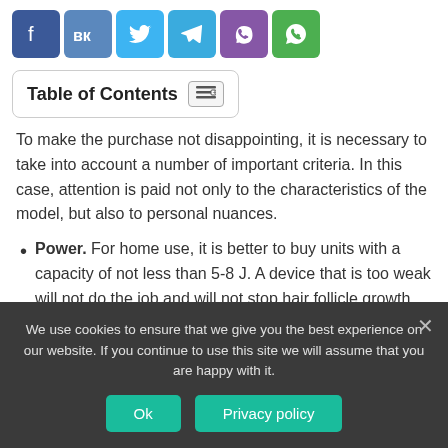[Figure (other): Row of social media sharing icons: Facebook (dark blue), VK (blue-grey), Twitter (light blue), Telegram (blue), Viber (purple), WhatsApp (green)]
Table of Contents
To make the purchase not disappointing, it is necessary to take into account a number of important criteria. In this case, attention is paid not only to the characteristics of the model, but also to personal nuances.
Power. For home use, it is better to buy units with a capacity of not less than 5-8 J. A device that is too weak will not do the job and will not stop hair follicle growth. And too powerful can cause burns.
We use cookies to ensure that we give you the best experience on our website. If you continue to use this site we will assume that you are happy with it.